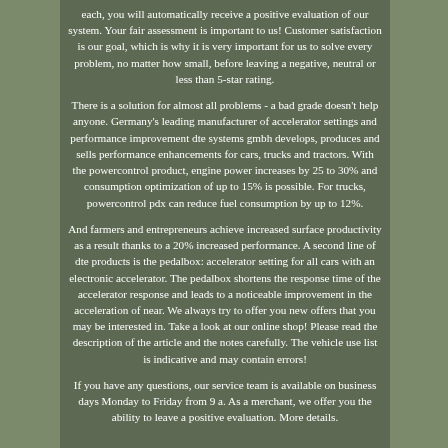each, you will automatically receive a positive evaluation of our system. Your fair assessment is important to us! Customer satisfaction is our goal, which is why it is very important for us to solve every problem, no matter how small, before leaving a negative, neutral or less than 5-star rating.
There is a solution for almost all problems - a bad grade doesn't help anyone. Germany's leading manufacturer of accelerator settings and performance improvement dte systems gmbh develops, produces and sells performance enhancements for cars, trucks and tractors. With the powercontrol product, engine power increases by 25 to 30% and consumption optimization of up to 15% is possible. For trucks, powercontrol pdx can reduce fuel consumption by up to 12%.
And farmers and entrepreneurs achieve increased surface productivity as a result thanks to a 20% increased performance. A second line of dte products is the pedalbox: accelerator setting for all cars with an electronic accelerator. The pedalbox shortens the response time of the accelerator response and leads to a noticeable improvement in the acceleration of near. We always try to offer you new offers that you may be interested in. Take a look at our online shop! Please read the description of the article and the notes carefully. The vehicle use list is indicative and may contain errors!
If you have any questions, our service team is available on business days Monday to Friday from 9 a. As a merchant, we offer you the ability to leave a positive evaluation. More details.